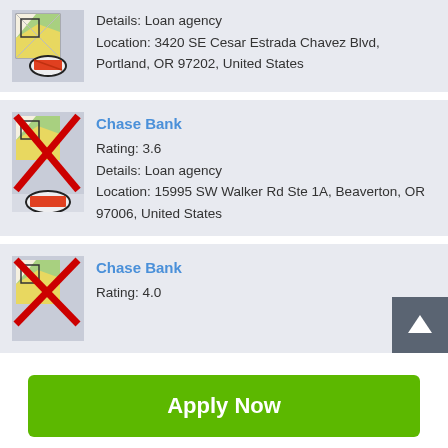[Figure (screenshot): Partial listing card showing Details: Loan agency and Location: 3420 SE Cesar Estrada Chavez Blvd, Portland, OR 97202, United States with a map icon]
Chase Bank
Rating: 3.6
Details: Loan agency
Location: 15995 SW Walker Rd Ste 1A, Beaverton, OR 97006, United States
Chase Bank
Rating: 4.0
Apply Now
Applying does NOT affect your credit score!
No credit check to apply.